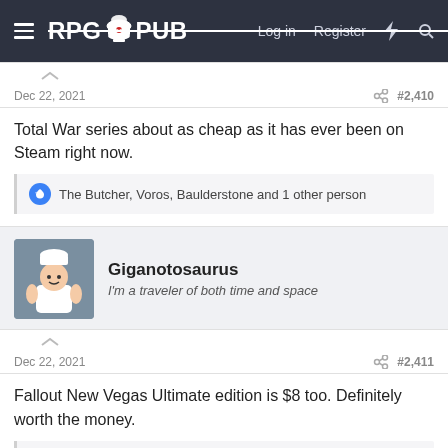RPG PUB — Log in  Register
Dec 22, 2021   #2,410
Total War series about as cheap as it has ever been on Steam right now.
The Butcher, Voros, Baulderstone and 1 other person
Giganotosaurus
I'm a traveler of both time and space
Dec 22, 2021   #2,411
Fallout New Vegas Ultimate edition is $8 too. Definitely worth the money.
Voros, thesheeep, The Mad Hatter and 2 others